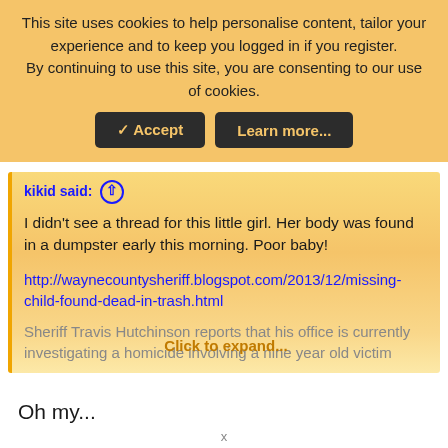This site uses cookies to help personalise content, tailor your experience and to keep you logged in if you register.
By continuing to use this site, you are consenting to our use of cookies.
✓ Accept   Learn more...
kikid said: ↑
I didn't see a thread for this little girl. Her body was found in a dumpster early this morning. Poor baby!
http://waynecountysheriff.blogspot.com/2013/12/missing-child-found-dead-in-trash.html
Sheriff Travis Hutchinson reports that his office is currently investigating a homicide involving a nine year old victim
Click to expand...
Oh my...